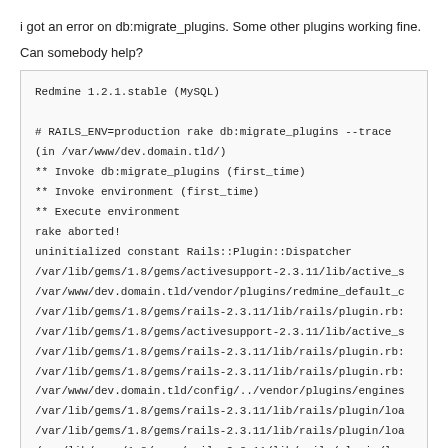i got an error on db:migrate_plugins. Some other plugins working fine.
Can somebody help?
Redmine 1.2.1.stable (MySQL)

# RAILS_ENV=production rake db:migrate_plugins --trace
(in /var/www/dev.domain.tld/)
** Invoke db:migrate_plugins (first_time)
** Invoke environment (first_time)
** Execute environment
rake aborted!
uninitialized constant Rails::Plugin::Dispatcher
/var/lib/gems/1.8/gems/activesupport-2.3.11/lib/active_s
/var/www/dev.domain.tld/vendor/plugins/redmine_default_c
/var/lib/gems/1.8/gems/rails-2.3.11/lib/rails/plugin.rb:
/var/lib/gems/1.8/gems/activesupport-2.3.11/lib/active_s
/var/lib/gems/1.8/gems/rails-2.3.11/lib/rails/plugin.rb:
/var/lib/gems/1.8/gems/rails-2.3.11/lib/rails/plugin.rb:
/var/www/dev.domain.tld/config/../vendor/plugins/engines
/var/lib/gems/1.8/gems/rails-2.3.11/lib/rails/plugin/loa
/var/lib/gems/1.8/gems/rails-2.3.11/lib/rails/plugin/loa
/var/lib/gems/1.8/gems/rails-2.3.11/lib/rails/plugin/loa
/var/lib/gems/1.8/gems/rails-2.3.11/lib/initializer.rb:3
/var/lib/gems/1.8/gems/rails-2.3.11/lib/initializer.rb:1
/var/lib/gems/1.8/gems/rails-2.3.11/lib/initializer.rb:1
/var/lib/gems/1.8/gems/rails-2.3.11/lib/initializer.rb:1
/var/www/dev.domain.tld/config/environment.rb:20
/usr/lib/ruby/1.8/rubygems/custom_require.rb:31:in `gem
/usr/lib/ruby/1.8/rubygems/custom_require.rb:31:in `requ
/var/lib/gems/1.8/gems/activesupport-2.3.11/lib/active